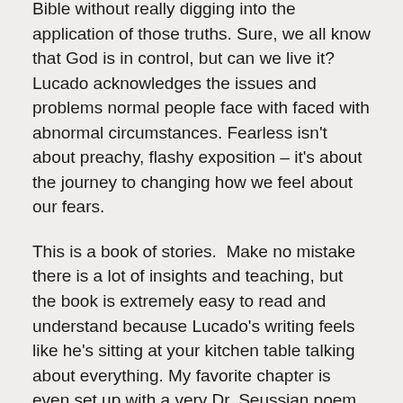Bible without really digging into the application of those truths. Sure, we all know that God is in control, but can we live it? Lucado acknowledges the issues and problems normal people face with faced with abnormal circumstances. Fearless isn't about preachy, flashy exposition – it's about the journey to changing how we feel about our fears.
This is a book of stories. Make no mistake there is a lot of insights and teaching, but the book is extremely easy to read and understand because Lucado's writing feels like he's sitting at your kitchen table talking about everything. My favorite chapter is even set up with a very Dr. Seussian poem that adds to the enjoyability of this book.
There's very few books I can point to as books I would encourage every Christian to read and Fearless is one of them. It's a tall, cold glass of water in a very dry and thirsty time. If you find yourself struggling with worry and doubt